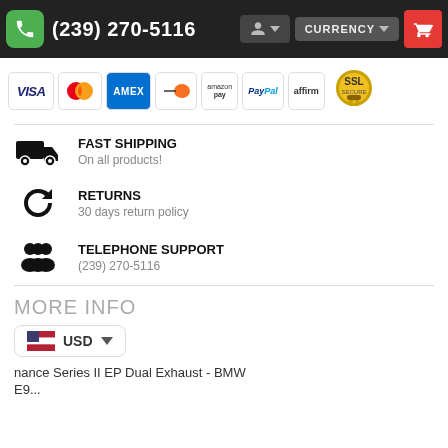(239) 270-5116  CURRENCY
[Figure (logo): Payment method logos: VISA, Mastercard, AMEX, Discover, Amazon Pay, PayPal, Affirm, SSL Secured]
FAST SHIPPING
On all products!
RETURNS
30 days return policy
TELEPHONE SUPPORT
(239) 270-5116
MORE INFO
USD
nance Series II EP Dual Exhaust - BMW
E9...